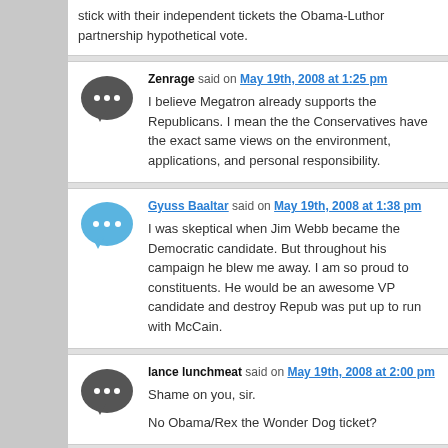stick with their independent tickets the Obama-Luthor partnership hypothetical vote.
Zenrage said on May 19th, 2008 at 1:25 pm
I believe Megatron already supports the Republicans. I mean the the Conservatives have the exact same views on the environment, applications, and personal responsibility.
Gyuss Baaltar said on May 19th, 2008 at 1:38 pm
I was skeptical when Jim Webb became the Democratic candidate. But throughout his campaign he blew me away. I am so proud to constituents. He would be an awesome VP candidate and destroy Repub was put up to run with McCain.
lance lunchmeat said on May 19th, 2008 at 2:00 pm
Shame on you, sir.

No Obama/Rex the Wonder Dog ticket?
MastaP said on May 19th, 2008 at 2:02 pm